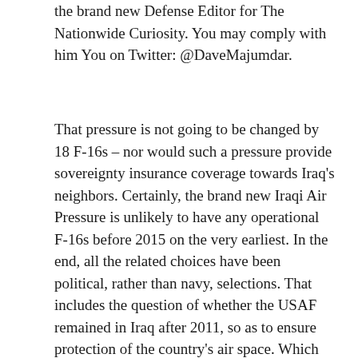the brand new Defense Editor for The Nationwide Curiosity. You may comply with him You on Twitter: @DaveMajumdar.
That pressure is not going to be changed by 18 F-16s – nor would such a pressure provide sovereignty insurance coverage towards Iraq's neighbors. Certainly, the brand new Iraqi Air Pressure is unlikely to have any operational F-16s before 2015 on the very earliest. In the end, all the related choices have been political, rather than navy, selections. That includes the question of whether the USAF remained in Iraq after 2011, so as to ensure protection of the country's air space. Which nonetheless leaves the question of how to guarantee Iraqi air house. One option might be to station Gulf Co-operation Council nation fighters at Iraqi bases, whereas flying AWACS patrols using Saudi E-3s. That will absolutely be a seismic reversal from the Saddam years, and could be presented as a regional peace and healing initiative, however Arab rivalries and Iranian influence make that option extra politically complex than it might seem. An alternative choice may be to have NATO assume air policing duties, as a fig leaf that might keep a considerable US